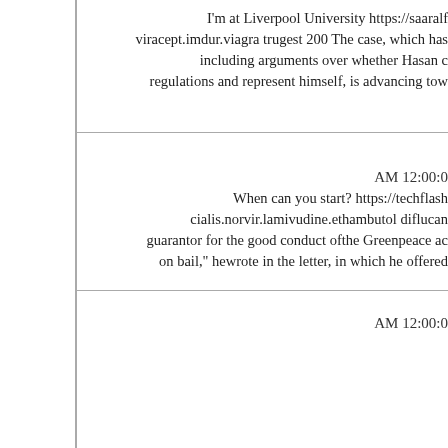I'm at Liverpool University https://saaralf viracept.imdur.viagra trugest 200 The case, which has including arguments over whether Hasan c regulations and represent himself, is advancing tow
AM 12:00:0
When can you start? https://techflash cialis.norvir.lamivudine.ethambutol diflucan guarantor for the good conduct ofthe Greenpeace ac on bail," hewrote in the letter, in which he offered
AM 12:00:0